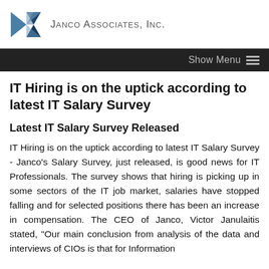Janco Associates, Inc.
IT Hiring is on the uptick according to latest IT Salary Survey
Latest IT Salary Survey Released
IT Hiring is on the uptick according to latest IT Salary Survey - Janco's Salary Survey, just released, is good news for IT Professionals. The survey shows that hiring is picking up in some sectors of the IT job market, salaries have stopped falling and for selected positions there has been an increase in compensation. The CEO of Janco, Victor Janulaitis stated, "Our main conclusion from analysis of the data and interviews of CIOs is that for Information